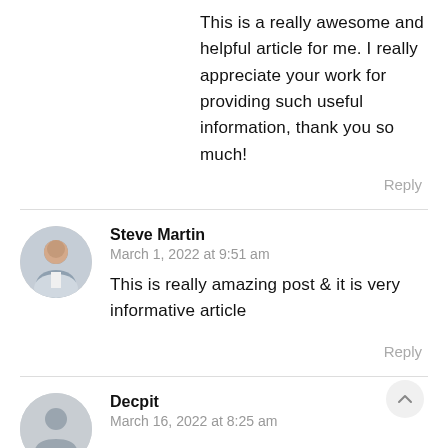This is a really awesome and helpful article for me. I really appreciate your work for providing such useful information, thank you so much!
Reply
Steve Martin
March 1, 2022 at 9:51 am
This is really amazing post & it is very informative article
Reply
Decpit
March 16, 2022 at 8:25 am